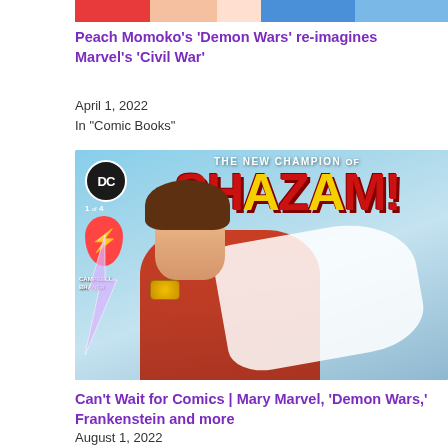[Figure (illustration): Top cropped portion of a comic book cover showing colorful superhero imagery]
Peach Momoko’s ‘Demon Wars’ re-imagines Marvel’s ‘Civil War’
April 1, 2022
In "Comic Books"
[Figure (illustration): Cover of DC Comics 'The New Champion of Shazam!' issue 1 of 4, featuring a female superhero in red and white costume flying, with large red SHAZAM! title lettering. Credits: Campbell, Bhaner.]
Can’t Wait for Comics | Mary Marvel, ‘Demon Wars,’ Frankenstein and more
August 1, 2022